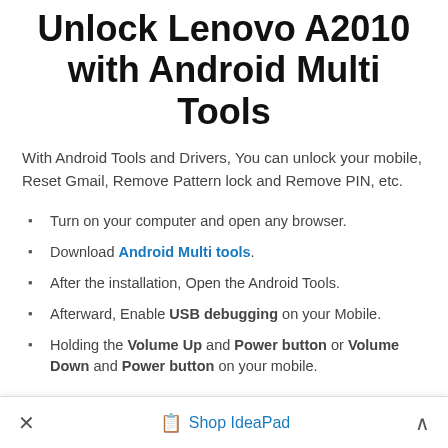Unlock Lenovo A2010 with Android Multi Tools
With Android Tools and Drivers, You can unlock your mobile, Reset Gmail, Remove Pattern lock and Remove PIN, etc.
Turn on your computer and open any browser.
Download Android Multi tools.
After the installation, Open the Android Tools.
Afterward, Enable USB debugging on your Mobile.
Holding the Volume Up and Power button or Volume Down and Power button on your mobile.
× Shop IdeaPad ∧